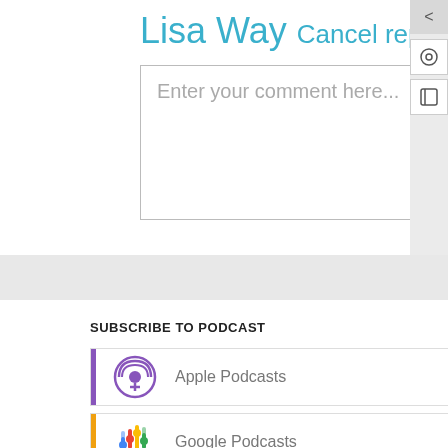Lisa Way Cancel reply
Enter your comment here...
SUBSCRIBE TO PODCAST
Apple Podcasts
Google Podcasts
Android